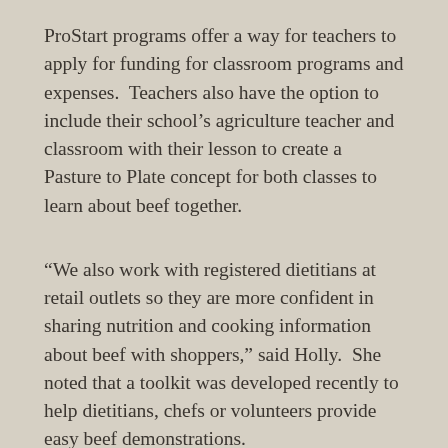ProStart programs offer a way for teachers to apply for funding for classroom programs and expenses.  Teachers also have the option to include their school's agriculture teacher and classroom with their lesson to create a Pasture to Plate concept for both classes to learn about beef together.
“We also work with registered dietitians at retail outlets so they are more confident in sharing nutrition and cooking information about beef with shoppers,” said Holly.  She noted that a toolkit was developed recently to help dietitians, chefs or volunteers provide easy beef demonstrations.
Holly notes that the beef organizations have also evolved in how they communicate to audiences, including using